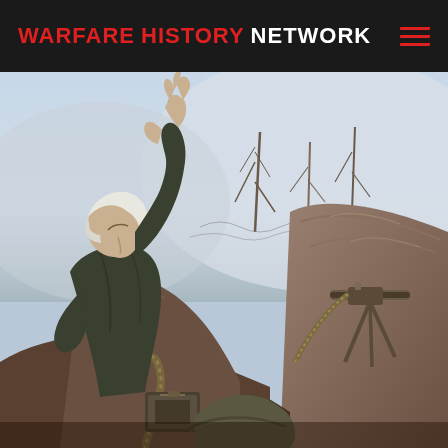WARFARE HISTORY NETWORK
[Figure (illustration): A wartime painting depicting a soldier with arm raised high, wearing military uniform and a white headwrap, standing in a trench with a machine gun on a tripod. Ammunition belt visible. Rocky earthen trench walls surround the scene. Another helmeted soldier is partially visible in the lower foreground, along with a small equipment box. Background shows snow-covered mountainous terrain with bare trees.]